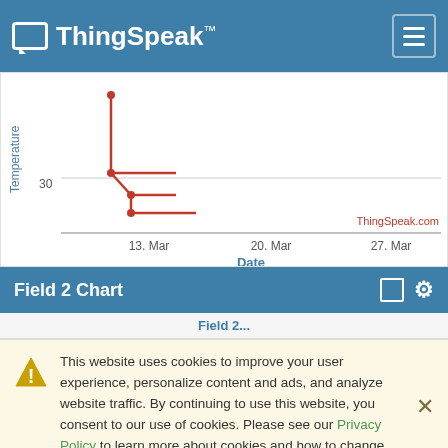ThingSpeak™
[Figure (line-chart): Partial line chart showing temperature data. X-axis shows dates: 13. Mar, 20. Mar, 27. Mar. Y-axis label: Temperature. Y-axis tick visible: 30. Red line with data points visible, partially cropped at top.]
Field 2 Chart
This website uses cookies to improve your user experience, personalize content and ads, and analyze website traffic. By continuing to use this website, you consent to our use of cookies. Please see our Privacy Policy to learn more about cookies and how to change your settings.